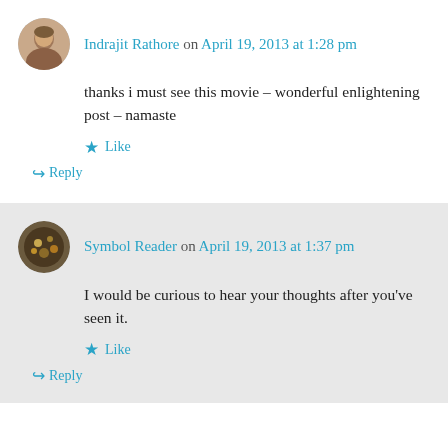Indrajit Rathore on April 19, 2013 at 1:28 pm
thanks i must see this movie – wonderful enlightening post – namaste
Like
Reply
Symbol Reader on April 19, 2013 at 1:37 pm
I would be curious to hear your thoughts after you've seen it.
Like
Reply